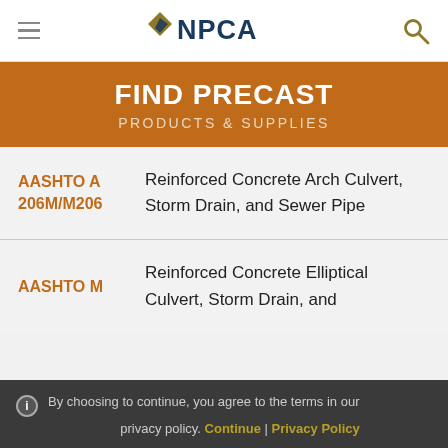NPCA - Navigation header with hamburger menu, NPCA logo, and search icon
FIND PRECAST PRODUCTS & SUPPLIES
AASHTO A 206M/M206 — Reinforced Concrete Arch Culvert, Storm Drain, and Sewer Pipe
AASHTO M — Reinforced Concrete Elliptical Culvert, Storm Drain, and
By choosing to continue, you agree to the terms in our privacy policy. Continue | Privacy Policy